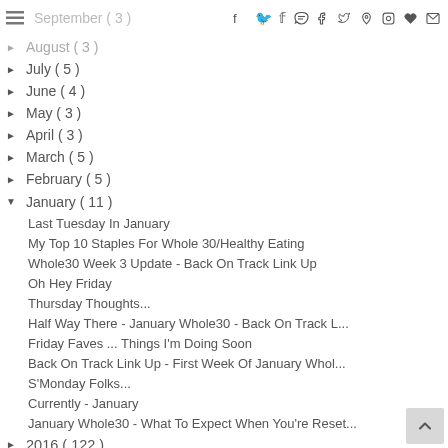September (3) — with social icons: Facebook, Twitter, Pinterest, Instagram, Heart, Mail
► August (3)
► July (5)
► June (4)
► May (3)
► April (3)
► March (5)
► February (5)
▼ January (11)
Last Tuesday In January
My Top 10 Staples For Whole 30/Healthy Eating
Whole30 Week 3 Update - Back On Track Link Up
Oh Hey Friday
Thursday Thoughts...
Half Way There - January Whole30 - Back On Track L...
Friday Faves ... Things I'm Doing Soon
Back On Track Link Up - First Week Of January Whol...
S'Monday Folks...
Currently - January
January Whole30 - What To Expect When You're Reset...
► 2016 (122)
► 2015 (187)
► 2014 (237)